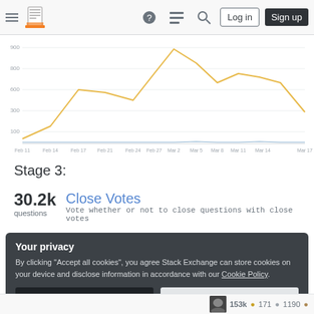Stack Exchange navigation bar with hamburger menu, logo, help, chat, search icons, Log in and Sign up buttons
[Figure (line-chart): Line chart showing traffic data over time from Feb to Mar with a gold/yellow line peaking around 900+ and a nearly-flat blue line near zero. X-axis shows dates from Feb 11 to Mar 17.]
Stage 3:
30.2k questions  Close Votes  Vote whether or not to close questions with close votes
Your privacy
By clicking "Accept all cookies", you agree Stack Exchange can store cookies on your device and disclose information in accordance with our Cookie Policy.
Accept all cookies  Customize settings
153k ● 171 ● 1190 ●